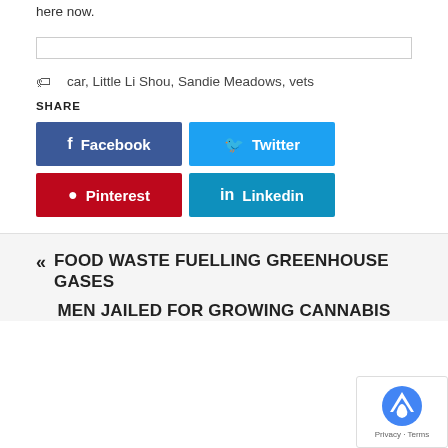here now.
car, Little Li Shou, Sandie Meadows, vets
SHARE
Facebook
Twitter
Pinterest
Linkedin
« FOOD WASTE FUELLING GREENHOUSE GASES
MEN JAILED FOR GROWING CANNABIS